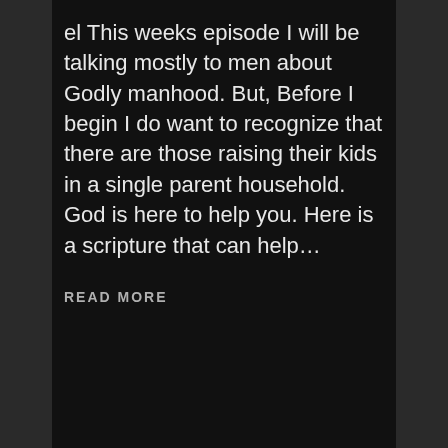el This weeks episode I will be talking mostly to men about Godly manhood. But, Before I begin I do want to recognize that there are those raising their kids in a single parent household. God is here to help you. Here is a scripture that can help...
READ MORE